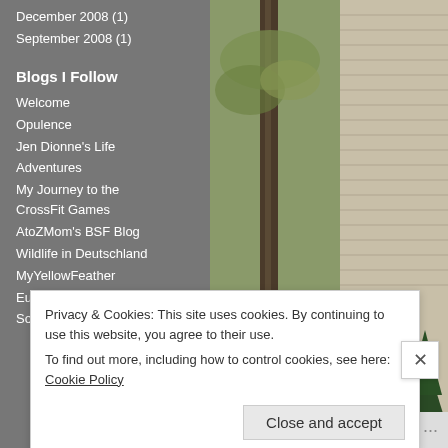December 2008 (1)
September 2008 (1)
Blogs I Follow
Welcome
Opulence
Jen Dionne's Life Adventures
My Journey to the CrossFit Games
AtoZMom's BSF Blog
Wildlife in Deutschland
MyYellowFeather
European Wilderness Society
[Figure (photo): Outdoor photo showing a tree trunk, wooden fence, and beige horizontal siding of a house, with a small evergreen tree visible in the lower right.]
Privacy & Cookies: This site uses cookies. By continuing to use this website, you agree to their use.
To find out more, including how to control cookies, see here: Cookie Policy
Close and accept
Follow